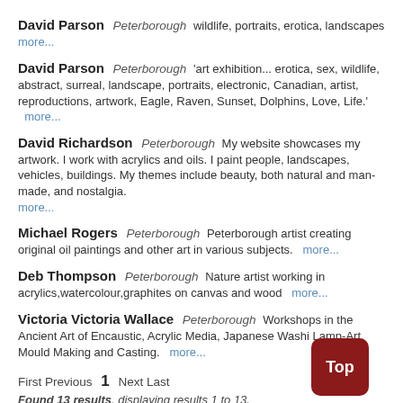David Parson  Peterborough  wildlife, portraits, erotica, landscapes  more...
David Parson  Peterborough  'art exhibition... erotica, sex, wildlife, abstract, surreal, landscape, portraits, electronic, Canadian, artist, reproductions, artwork, Eagle, Raven, Sunset, Dolphins, Love, Life.'  more...
David Richardson  Peterborough  My website showcases my artwork. I work with acrylics and oils. I paint people, landscapes, vehicles, buildings. My themes include beauty, both natural and man-made, and nostalgia.  more...
Michael Rogers  Peterborough  Peterborough artist creating original oil paintings and other art in various subjects.  more...
Deb Thompson  Peterborough  Nature artist working in acrylics,watercolour,graphites on canvas and wood  more...
Victoria Victoria Wallace  Peterborough  Workshops in the Ancient Art of Encaustic, Acrylic Media, Japanese Washi Lamp-Art, Mould Making and Casting.  more...
First Previous  1  Next Last
Found 13 results, displaying results 1 to 13.